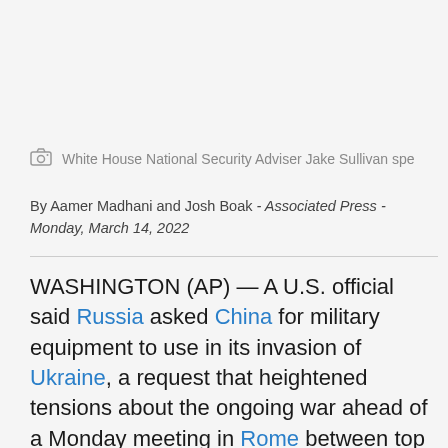White House National Security Adviser Jake Sullivan spe
By Aamer Madhani and Josh Boak - Associated Press - Monday, March 14, 2022
WASHINGTON (AP) — A U.S. official said Russia asked China for military equipment to use in its invasion of Ukraine, a request that heightened tensions about the ongoing war ahead of a Monday meeting in Rome between top aides for the U.S. and Chinese governments.
In advance of the talks, White House National